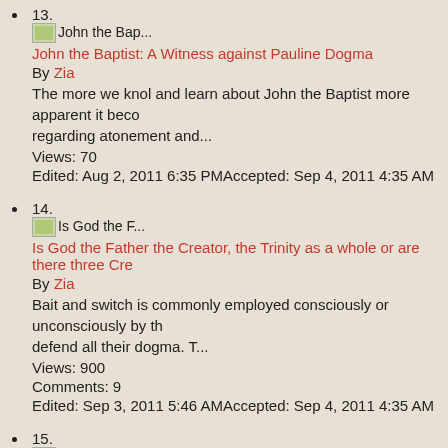13. John the Bap... John the Baptist: A Witness against Pauline Dogma By Zia The more we knol and learn about John the Baptist more apparent it beco regarding atonement and... Views: 70 Edited: Aug 2, 2011 6:35 PMAccepted: Sep 4, 2011 4:35 AM
14. Is God the F... Is God the Father the Creator, the Trinity as a whole or are there three Cre By Zia Bait and switch is commonly employed consciously or unconsciously by th defend all their dogma. T... Views: 900 Comments: 9 Edited: Sep 3, 2011 5:46 AMAccepted: Sep 4, 2011 4:35 AM
15. Hinduism: Is... Hinduism: Is it monotheistic or polytheistic? By Zia Hadhrat Mirza Tahir Ahmad writes in his book Revelation, Rationality, Kno on Hinduism:... Views: 1000